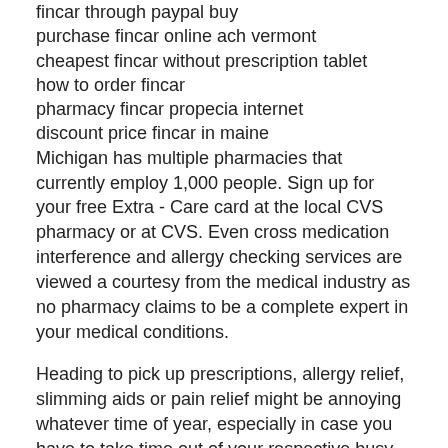fincar through paypal buy
purchase fincar online ach vermont
cheapest fincar without prescription tablet
how to order fincar
pharmacy fincar propecia internet
discount price fincar in maine
Michigan has multiple pharmacies that currently employ 1,000 people. Sign up for your free Extra - Care card at the local CVS pharmacy or at CVS. Even cross medication interference and allergy checking services are viewed a courtesy from the medical industry as no pharmacy claims to be a complete expert in your medical conditions.
Heading to pick up prescriptions, allergy relief, slimming aids or pain relief might be annoying whatever time of year, especially in case you have to take time out of your respective busy schedule to visit your nearest pharmacy that could be inconveniently located. How much sure you are to take a test, it is still betterto benefit yourself from preparing more than ready to allow the very best so that you can pass the examination. It's no secret that healthcare costs are out of control.
Pharmacists in many cases are pressured to change out